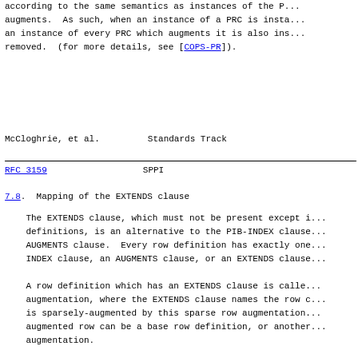according to the same semantics as instances of the P... augments. As such, when an instance of a PRC is insta... an instance of every PRC which augments it is also ins... removed. (for more details, see [COPS-PR]).
McCloghrie, et al.          Standards Track
RFC 3159                          SPPI
7.8. Mapping of the EXTENDS clause
The EXTENDS clause, which must not be present except i... definitions, is an alternative to the PIB-INDEX clause AUGMENTS clause. Every row definition has exactly one INDEX clause, an AUGMENTS clause, or an EXTENDS clause
A row definition which has an EXTENDS clause is calle... augmentation, where the EXTENDS clause names the row c... is sparsely-augmented by this sparse row augmentation... augmented row can be a base row definition, or another augmentation.